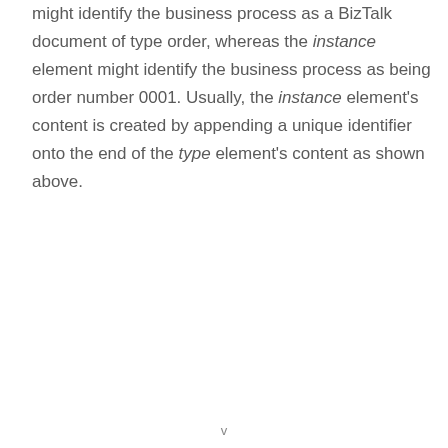might identify the business process as a BizTalk document of type order, whereas the instance element might identify the business process as being order number 0001. Usually, the instance element's content is created by appending a unique identifier onto the end of the type element's content as shown above.
v